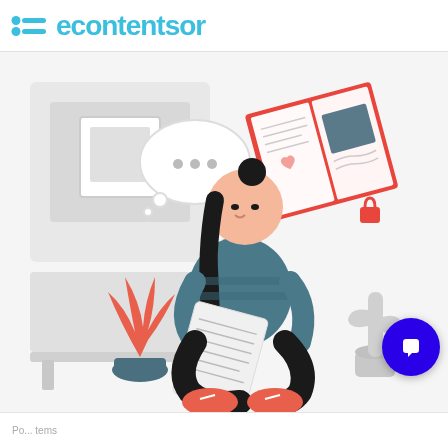econtentsor
[Figure (illustration): Flat vector illustration of a young woman with dark hair sitting cross-legged, writing in a notebook. Behind her are a speech bubble with three dots, a framed picture on the wall, an open diary/journal book with a lock, a red plant, and a cactus in a pot. The background is light grey with simple shelving.]
[Figure (illustration): Blue circular chat widget button with white speech bubble icon in the bottom right corner.]